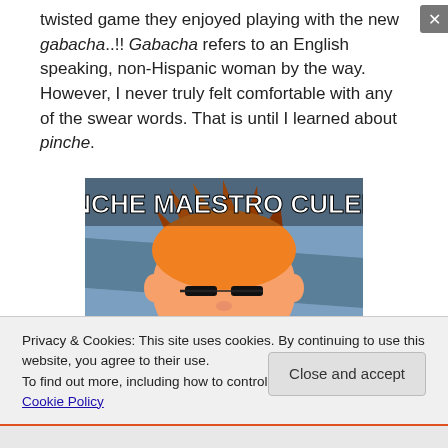twisted game they enjoyed playing with the new gabacha..!! Gabacha refers to an English speaking, non-Hispanic woman by the way. However, I never truly felt comfortable with any of the swear words. That is until I learned about pinche.
[Figure (photo): Meme image showing animated character Fry from Futurama squinting, with bold white text reading 'PINCHE MAESTRO CULERO']
Privacy & Cookies: This site uses cookies. By continuing to use this website, you agree to their use.
To find out more, including how to control cookies, see here: Cookie Policy
Close and accept